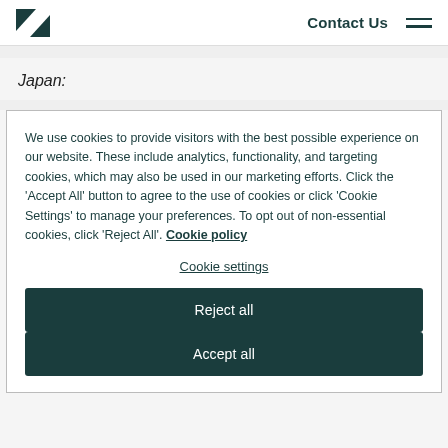Contact Us
Japan:
We use cookies to provide visitors with the best possible experience on our website. These include analytics, functionality, and targeting cookies, which may also be used in our marketing efforts. Click the 'Accept All' button to agree to the use of cookies or click 'Cookie Settings' to manage your preferences. To opt out of non-essential cookies, click 'Reject All'. Cookie policy
Cookie settings
Reject all
Accept all